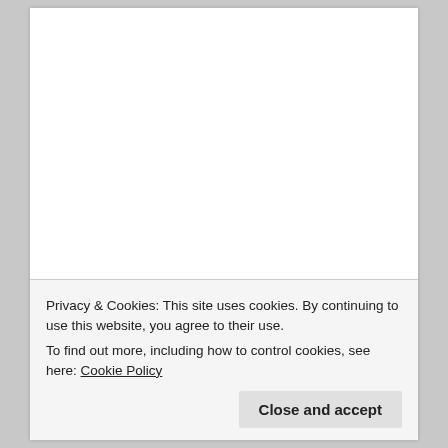[Figure (other): Advertisement banner with gradient background from red/pink to purple, containing small white icon symbols]
“You didn’t meet Akash’s friends then? Doesn’t Lavanya live there now?” Maya asked.
Privacy & Cookies: This site uses cookies. By continuing to use this website, you agree to their use.
To find out more, including how to control cookies, see here: Cookie Policy
Close and accept
sighed and said, “NK.” He met Maya’s glance